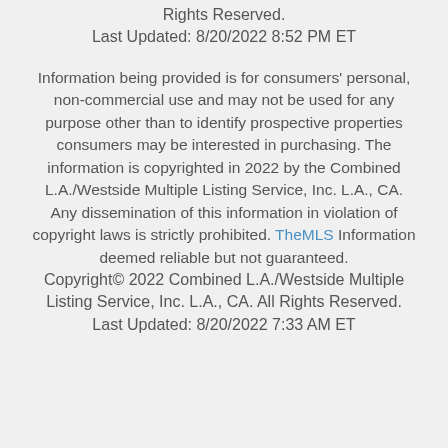Rights Reserved.
Last Updated: 8/20/2022 8:52 PM ET
Information being provided is for consumers' personal, non-commercial use and may not be used for any purpose other than to identify prospective properties consumers may be interested in purchasing. The information is copyrighted in 2022 by the Combined L.A./Westside Multiple Listing Service, Inc. L.A., CA. Any dissemination of this information in violation of copyright laws is strictly prohibited. TheMLS Information deemed reliable but not guaranteed.
Copyright© 2022 Combined L.A./Westside Multiple Listing Service, Inc. L.A., CA. All Rights Reserved.
Last Updated: 8/20/2022 7:33 AM ET